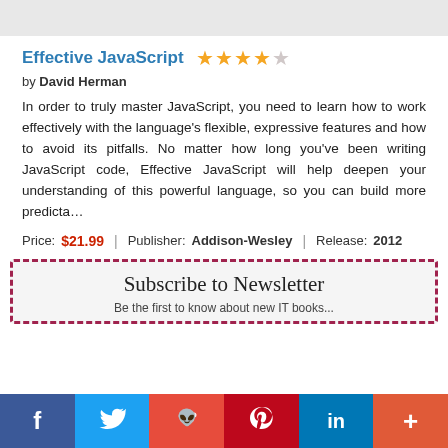Effective JavaScript
by David Herman
In order to truly master JavaScript, you need to learn how to work effectively with the language's flexible, expressive features and how to avoid its pitfalls. No matter how long you've been writing JavaScript code, Effective JavaScript will help deepen your understanding of this powerful language, so you can build more predicta…
Price: $21.99 | Publisher: Addison-Wesley | Release: 2012
Subscribe to Newsletter
Be the first to know about new IT books...